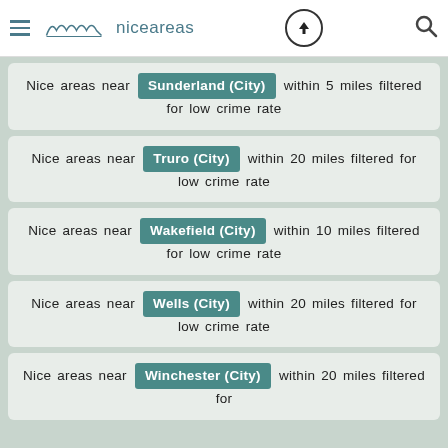niceareas
Nice areas near Sunderland (City) within 5 miles filtered for low crime rate
Nice areas near Truro (City) within 20 miles filtered for low crime rate
Nice areas near Wakefield (City) within 10 miles filtered for low crime rate
Nice areas near Wells (City) within 20 miles filtered for low crime rate
Nice areas near Winchester (City) within 20 miles filtered for